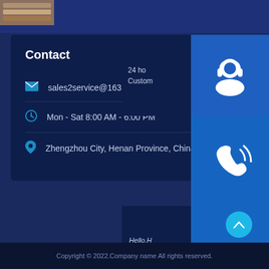[Figure (screenshot): Top thumbnail image showing stacked items]
Contact
sales2service@163.com
Mon - Sat 8:00 AM - 6:00 PM
Zhengzhou City, Henan Province, China
[Figure (screenshot): 24 hour Customer support panel with headset icon]
[Figure (screenshot): Phone support panel with person photo and phone icon]
[Figure (screenshot): Skype chat panel with Hello message and Chat Now button]
Copyright © 2022.Company name All rights reserved.